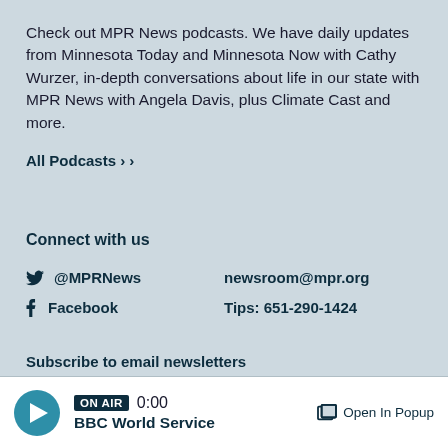Check out MPR News podcasts. We have daily updates from Minnesota Today and Minnesota Now with Cathy Wurzer, in-depth conversations about life in our state with MPR News with Angela Davis, plus Climate Cast and more.
All Podcasts ›
Connect with us
@MPRNews
newsroom@mpr.org
Facebook
Tips: 651-290-1424
Subscribe to email newsletters
ON AIR 0:00 BBC World Service Open In Popup